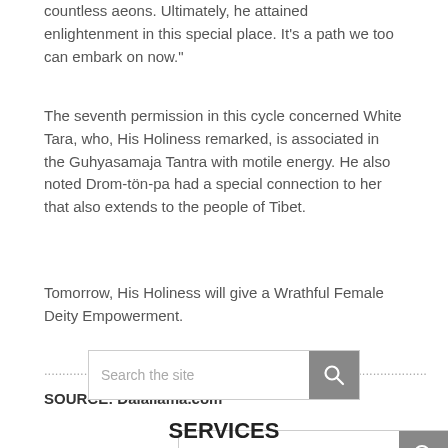countless aeons. Ultimately, he attained enlightenment in this special place. It's a path we too can embark on now."
The seventh permission in this cycle concerned White Tara, who, His Holiness remarked, is associated in the Guhyasamaja Tantra with motile energy. He also noted Drom-tön-pa had a special connection to her that also extends to the people of Tibet.
Tomorrow, His Holiness will give a Wrathful Female Deity Empowerment.
..........................................................................................................
SOURCE: Dalailama.com
[Figure (screenshot): Search box with placeholder text 'Search the site' and a search icon button on the right]
SERVICES